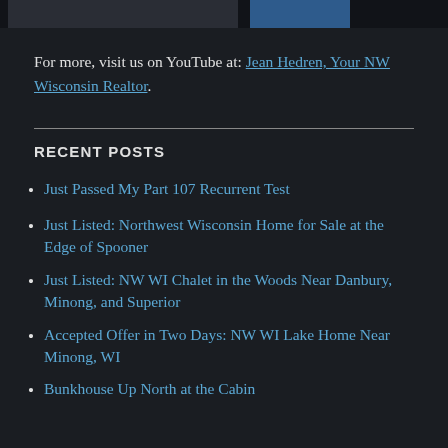[Figure (photo): Partial top image bar showing cropped photos]
For more, visit us on YouTube at: Jean Hedren, Your NW Wisconsin Realtor.
RECENT POSTS
Just Passed My Part 107 Recurrent Test
Just Listed: Northwest Wisconsin Home for Sale at the Edge of Spooner
Just Listed: NW WI Chalet in the Woods Near Danbury, Minong, and Superior
Accepted Offer in Two Days: NW WI Lake Home Near Minong, WI
Bunkhouse Up North at the Cabin